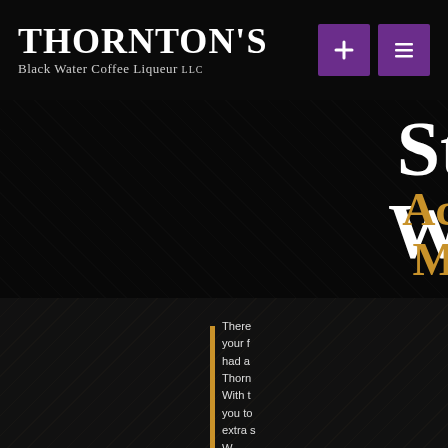THORNTON'S Black Water Coffee Liqueur LLC
[Figure (screenshot): Navigation bar with purple '+' button and purple hamburger menu button]
[Figure (screenshot): Dark hero section with large white cropped heading text (partially visible 'St...' and 'W...') and gold heading text 'Ac...' and 'M...']
There [is something for] your f[avorite moments, we] had a [...]  Thorn[ton's...] With [this you can take] you to[...] extra s[omething...] W[e...]